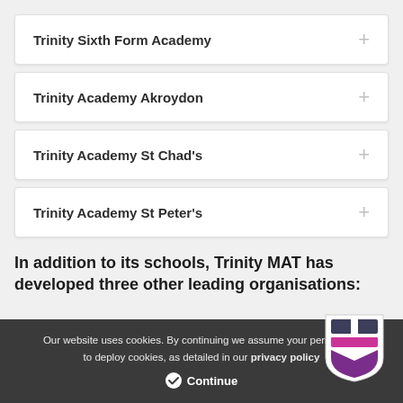Trinity Sixth Form Academy
Trinity Academy Akroydon
Trinity Academy St Chad's
Trinity Academy St Peter's
In addition to its schools, Trinity MAT has developed three other leading organisations:
Our website uses cookies. By continuing we assume your permission to deploy cookies, as detailed in our privacy policy.
Continue